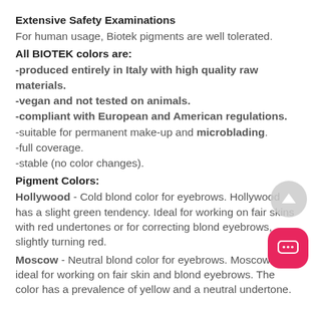Extensive Safety Examinations
For human usage, Biotek pigments are well tolerated.
All BIOTEK colors are:
-produced entirely in Italy with high quality raw materials.
-vegan and not tested on animals.
-compliant with European and American regulations.
-suitable for permanent make-up and microblading.
-full coverage.
-stable (no color changes).
Pigment Colors:
Hollywood - Cold blond color for eyebrows. Hollywood has a slight green tendency. Ideal for working on fair skins with red undertones or for correcting blond eyebrows, slightly turning red.
Moscow - Neutral blond color for eyebrows. Moscow is ideal for working on fair skin and blond eyebrows. The color has a prevalence of yellow and a neutral undertone.